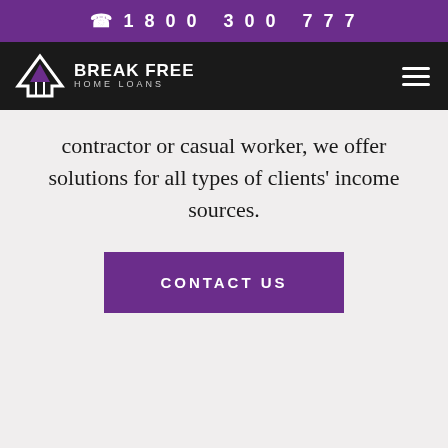1800 300 777
[Figure (logo): Break Free Home Loans logo with house/mountain icon in purple and white on dark background, with hamburger menu icon on right]
contractor or casual worker, we offer solutions for all types of clients' income sources.
CONTACT US